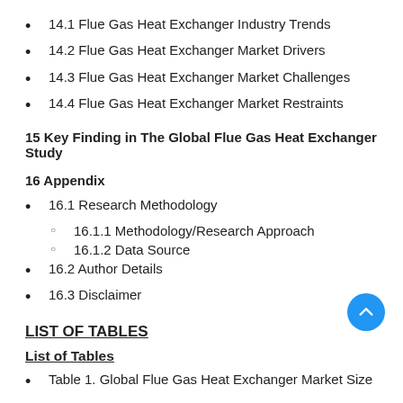14.1 Flue Gas Heat Exchanger Industry Trends
14.2 Flue Gas Heat Exchanger Market Drivers
14.3 Flue Gas Heat Exchanger Market Challenges
14.4 Flue Gas Heat Exchanger Market Restraints
15 Key Finding in The Global Flue Gas Heat Exchanger Study
16 Appendix
16.1 Research Methodology
16.1.1 Methodology/Research Approach
16.1.2 Data Source
16.2 Author Details
16.3 Disclaimer
LIST OF TABLES
List of Tables
Table 1. Global Flue Gas Heat Exchanger Market Size